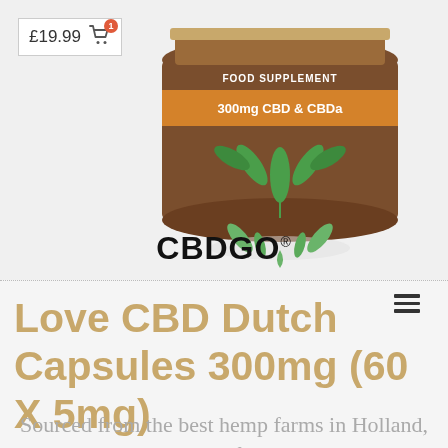[Figure (photo): Product jar for Love CBD Dutch Capsules 300mg with green hemp leaf design and orange label reading '300mg CBD & CBDa', FOOD SUPPLEMENT text at top]
[Figure (logo): CBDGO logo in bold black text with registered trademark symbol]
Love CBD Dutch Capsules 300mg (60 X 5mg)
Sourced from the best hemp farms in Holland, these full